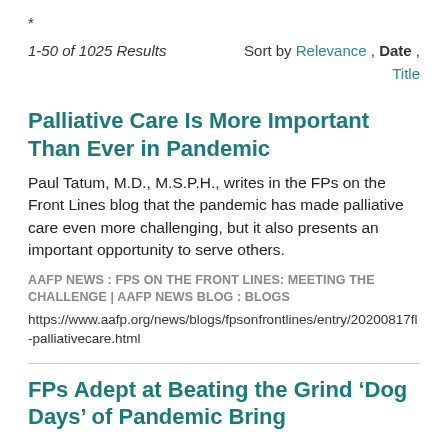*
1-50 of 1025 Results    Sort by Relevance , Date , Title
Palliative Care Is More Important Than Ever in Pandemic
Paul Tatum, M.D., M.S.P.H., writes in the FPs on the Front Lines blog that the pandemic has made palliative care even more challenging, but it also presents an important opportunity to serve others.
AAFP NEWS : FPS ON THE FRONT LINES: MEETING THE CHALLENGE | AAFP NEWS BLOG : BLOGS
https://www.aafp.org/news/blogs/fpsonfrontlines/entry/20200817fl-palliativecare.html
FPs Adept at Beating the Grind ‘Dog Days’ of Pandemic Bring